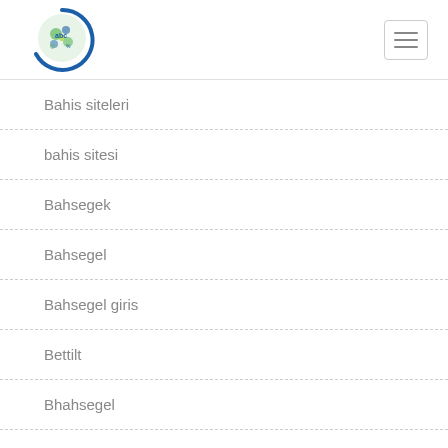Navigation menu with logo and hamburger button
Bahis siteleri
bahis sitesi
Bahsegek
Bahsegel
Bahsegel giris
Bettilt
Bhahsegel
Bitcoin News
Bookkeeping